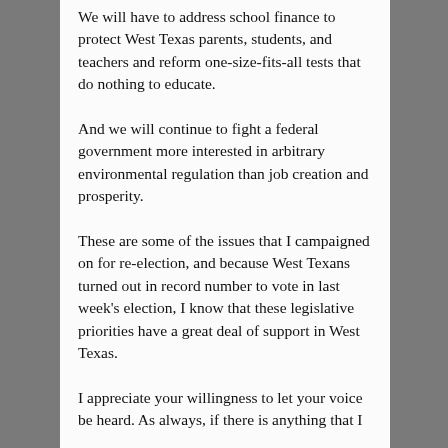We will have to address school finance to protect West Texas parents, students, and teachers and reform one-size-fits-all tests that do nothing to educate.
And we will continue to fight a federal government more interested in arbitrary environmental regulation than job creation and prosperity.
These are some of the issues that I campaigned on for re-election, and because West Texans turned out in record number to vote in last week's election, I know that these legislative priorities have a great deal of support in West Texas.
I appreciate your willingness to let your voice be heard. As always, if there is anything that I